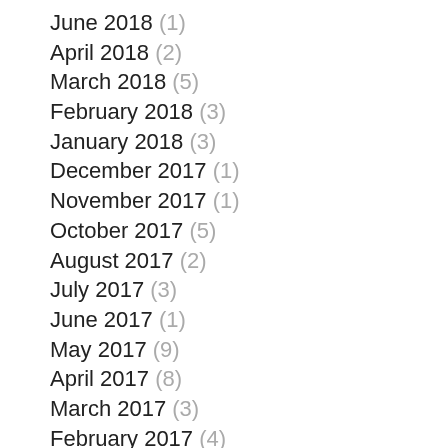June 2018 (1)
April 2018 (2)
March 2018 (5)
February 2018 (3)
January 2018 (3)
December 2017 (1)
November 2017 (1)
October 2017 (5)
August 2017 (2)
July 2017 (3)
June 2017 (1)
May 2017 (9)
April 2017 (8)
March 2017 (3)
February 2017 (4)
December 2016 (2)
November 2016 (1)
October 2016 (2)